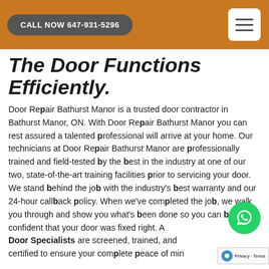CALL NOW 647-931-5296
The Door Functions Efficiently.
Door Repair Bathurst Manor is a trusted door contractor in Bathurst Manor, ON. With Door Repair Bathurst Manor you can rest assured a talented professional will arrive at your home. Our technicians at Door Repair Bathurst Manor are professionally trained and field-tested by the best in the industry at one of our two, state-of-the-art training facilities prior to servicing your door. We stand behind the job with the industry's best warranty and our 24-hour callback policy. When we've completed the job, we walk you through and show you what's been done so you can be confident that your door was fixed right. All Door Specialists are screened, trained, and certified to ensure your complete peace of mind.